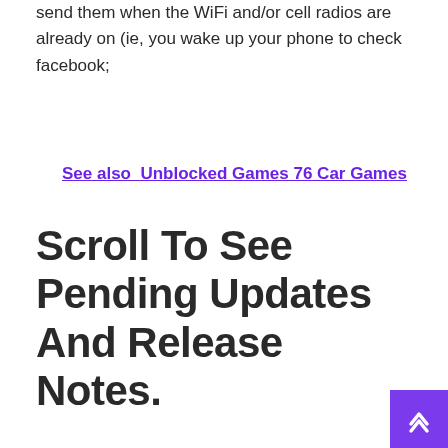send them when the WiFi and/or cell radios are already on (ie, you wake up your phone to check facebook;
See also  Unblocked Games 76 Car Games
Scroll To See Pending Updates And Release Notes.
You can find the clear history and website data. setting and tap on the button. The system sees that it's connected to the internet and then performs the background app refreshes). How to enable or disable background app refresh for individual apps on iphone